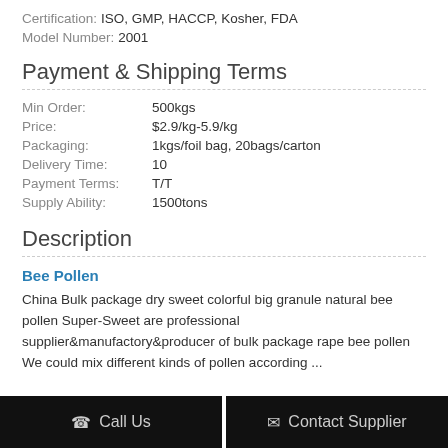Certification: ISO, GMP, HACCP, Kosher, FDA
Model Number: 2001
Payment & Shipping Terms
| Min Order: | 500kgs |
| Price: | $2.9/kg-5.9/kg |
| Packaging: | 1kgs/foil bag, 20bags/carton |
| Delivery Time: | 10 |
| Payment Terms: | T/T |
| Supply Ability: | 1500tons |
Description
Bee Pollen
China Bulk package dry sweet colorful big granule natural bee pollen Super-Sweet are professional supplier&manufactory&producer of bulk package rape bee pollen We could mix different kinds of pollen according ...
Call Us   Contact Supplier